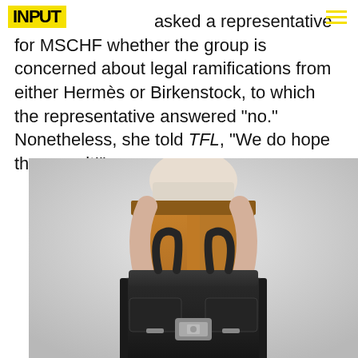INPUT [logo] | hamburger menu
The Fashion Law asked a representative for MSCHF whether the group is concerned about legal ramifications from either Hermès or Birkenstock, to which the representative answered "no." Nonetheless, she told TFL, "We do hope they see it!"
[Figure (photo): Person holding a large dark navy/black Birkin-style bag with silver hardware, wearing mustard/brown corduroy pants and a white top, against a light gray background. The bag is oversized and centered in the frame.]